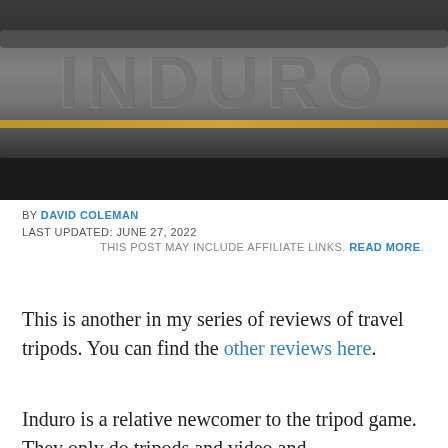[Figure (photo): Close-up photograph of a dark grey/black tripod leg or tube with the INDURO brand name embossed or printed in large capital letters on the surface.]
BY DAVID COLEMAN
LAST UPDATED: JUNE 27, 2022
THIS POST MAY INCLUDE AFFILIATE LINKS. READ MORE.
This is another in my series of reviews of travel tripods. You can find the other reviews here.
Induro is a relative newcomer to the tripod game. They only do tripods and video and